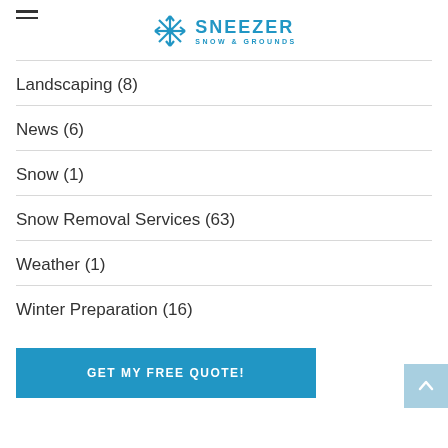SNEEZER SNOW & GROUNDS (logo with snowflake icon and hamburger menu)
Landscaping (8)
News (6)
Snow (1)
Snow Removal Services (63)
Weather (1)
Winter Preparation (16)
GET MY FREE QUOTE!